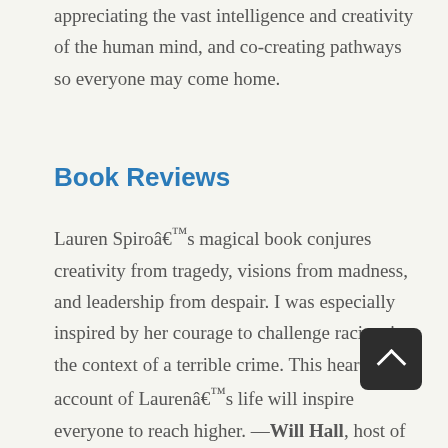appreciating the vast intelligence and creativity of the human mind, and co-creating pathways so everyone may come home.
Book Reviews
Lauren Spiroâ€™s magical book conjures creativity from tragedy, visions from madness, and leadership from despair. I was especially inspired by her courage to challenge racism in the context of a terrible crime. This heartfelt account of Laurenâ€™s life will inspire everyone to reach higher. —Will Hall, host of Madness Radio and author